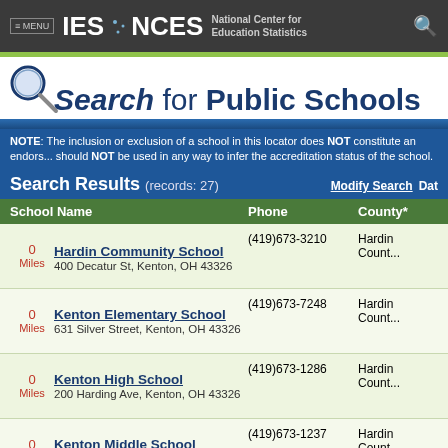≡ MENU  IES · NCES  National Center for Education Statistics
Search for Public Schools
NOTE: The inclusion or exclusion of a school in this locator does NOT constitute an endorsement and should NOT be used in any way to infer the accreditation status of the school.
Search Results (records: 27)
| School Name | Phone | County* |
| --- | --- | --- |
| 0 Miles  Hardin Community School
400 Decatur St, Kenton, OH 43326 | (419)673-3210 | Hardin County |
| 0 Miles  Kenton Elementary School
631 Silver Street, Kenton, OH 43326 | (419)673-7248 | Hardin County |
| 0 Miles  Kenton High School
200 Harding Ave, Kenton, OH 43326 | (419)673-1286 | Hardin County |
| 0 Miles  Kenton Middle School
300 Oriental St, Kenton, OH 43326 | (419)673-1237 | Hardin County |
| 8.7 Miles  Ridgemont Elementary School
560 Taylor St W, Mount Victory, OH 43340 | (937)354-2141 | Hardin County |